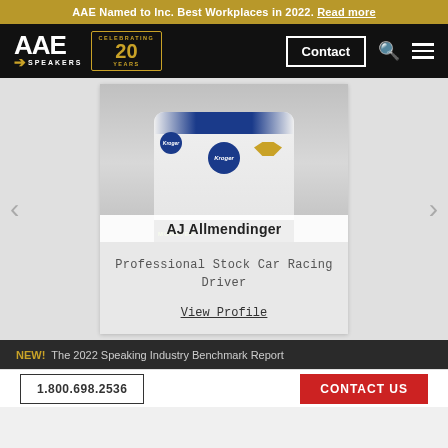AAE Named to Inc. Best Workplaces in 2022. Read more
[Figure (screenshot): AAE Speakers logo with Celebrating 20 Years badge, Contact button, search icon, and hamburger menu on black navigation bar]
[Figure (photo): AJ Allmendinger in NASCAR racing suit with Kroger sponsor logos, smiling. Name overlay at bottom reads AJ Allmendinger]
Professional Stock Car Racing Driver
View Profile
NEW! The 2022 Speaking Industry Benchmark Report
1.800.698.2536
CONTACT US